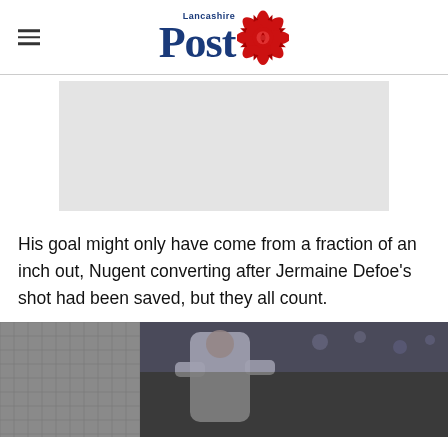Lancashire Post
[Figure (other): Advertisement placeholder block (grey rectangle)]
His goal might only have come from a fraction of an inch out, Nugent converting after Jermaine Defoe's shot had been saved, but they all count.
[Figure (photo): Football player in white kit near a goal net, partially visible, blurred crowd background]